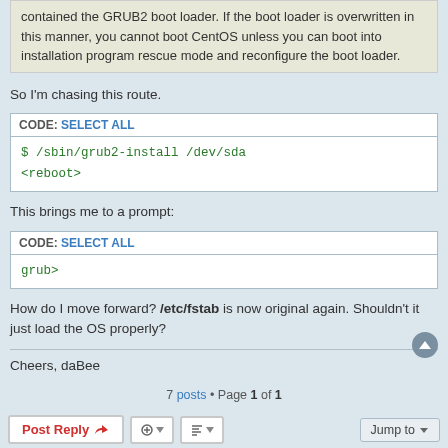contained the GRUB2 boot loader. If the boot loader is overwritten in this manner, you cannot boot CentOS unless you can boot into installation program rescue mode and reconfigure the boot loader.
So I'm chasing this route.
CODE: SELECT ALL
$ /sbin/grub2-install /dev/sda
<reboot>
This brings me to a prompt:
CODE: SELECT ALL
grub>
How do I move forward? /etc/fstab is now original again. Shouldn't it just load the OS properly?
Cheers, daBee
7 posts • Page 1 of 1